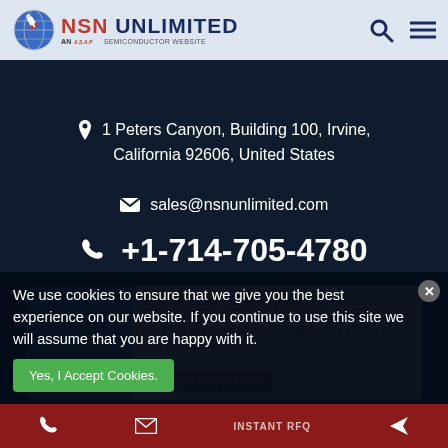[Figure (logo): NSN Unlimited logo with globe icon and ASAP Semiconductor tagline]
1 Peters Canyon, Building 100, Irvine, California 92606, United States
sales@nsnunlimited.com
+1-714-705-4780
How are we doing?
Customer satisfaction is our priority. Please take a moment to let us know how we are doing by answering just a few questions so we can improve our service and your experience.
Take Survey Now!
We use cookies to ensure that we give you the best experience on our website. If you continue to use this site we will assume that you are happy with it.
Yes, I Accept Cookies.
INSTANT RFQ